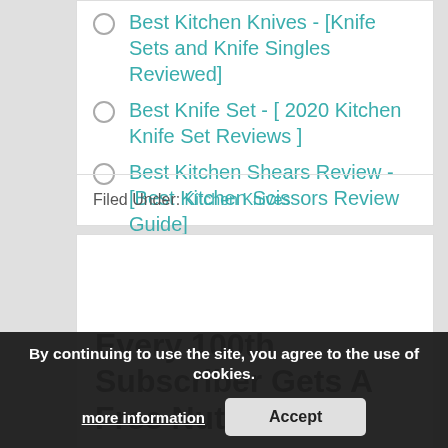Best Kitchen Knives - [Knife Sets and Knife Singles Reviewed]
Best Knife Set - [ 2020 Kitchen Knife Set Reviews ]
Best Kitchen Shears Review - [Best Kitchen Scissors Review Guide]
7 Best Japanese Kitchen Knives - [2020 Shoppers Guide]
Filed Under: Kitchen Knives
Every 100th Subscriber Gets A Free Nutribullet!
By continuing to use the site, you agree to the use of cookies. more information | Accept